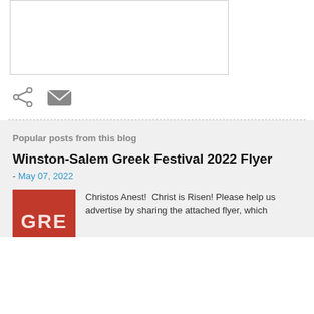[Figure (other): A white rectangle with a border, representing an image placeholder]
[Figure (other): Share icon (less-than symbol style) and email envelope icon in gray]
Popular posts from this blog
Winston-Salem Greek Festival 2022 Flyer
- May 07, 2022
[Figure (photo): Red thumbnail image with white text partially visible (GRE or similar)]
Christos Anest!  Christ is Risen! Please help us advertise by sharing the attached flyer, which